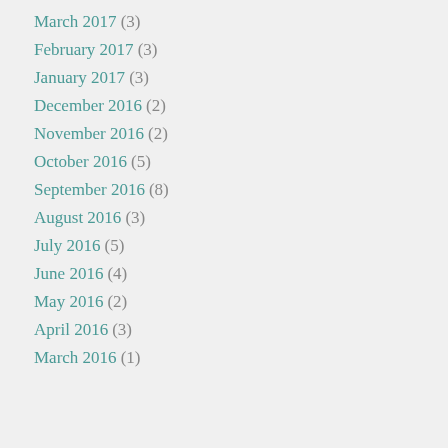March 2017 (3)
February 2017 (3)
January 2017 (3)
December 2016 (2)
November 2016 (2)
October 2016 (5)
September 2016 (8)
August 2016 (3)
July 2016 (5)
June 2016 (4)
May 2016 (2)
April 2016 (3)
March 2016 (1)